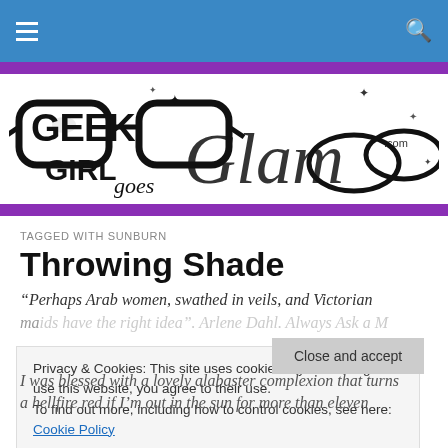Navigation bar with hamburger menu and search icon
[Figure (logo): Geek Girl Goes Glam logo with glasses illustration and sparkles]
TAGGED WITH SUNBURN
Throwing Shade
“Perhaps Arab women, swathed in veils, and Victorian maids have the right idea”. Arlene Dahl. Always Ask a Man.
Privacy & Cookies: This site uses cookies. By continuing to use this website, you agree to their use.
To find out more, including how to control cookies, see here: Cookie Policy
Close and accept
I was blessed with a lovely alabaster complexion that turns a hellfire red if I’m out in the sun for more than eleven